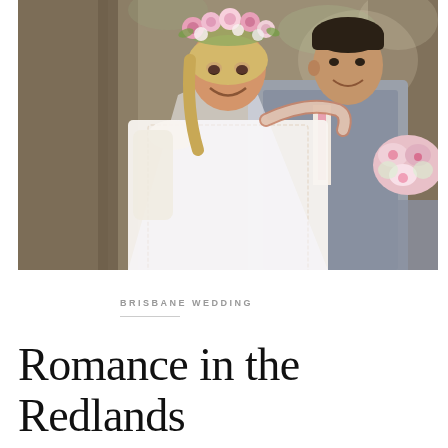[Figure (photo): Wedding couple portrait. A bride wearing a floral crown of pink and white roses and a lace long-sleeved wedding dress stands smiling beside a groom in a grey suit with a pink tie. The bride holds a bouquet of pink and white flowers. Trees are visible in the background.]
BRISBANE WEDDING
Romance in the Redlands